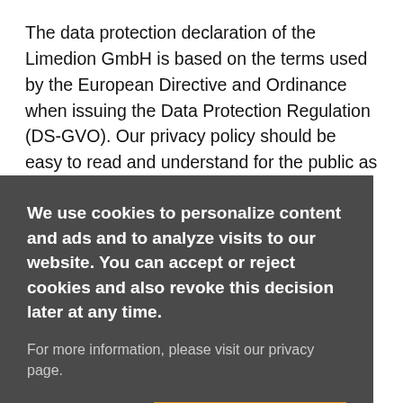The data protection declaration of the Limedion GmbH is based on the terms used by the European Directive and Ordinance when issuing the Data Protection Regulation (DS-GVO). Our privacy policy should be easy to read and understand for the public as well as for our customers and business partners. To ensure this, we would like to explain
[Figure (other): Cookie consent overlay with dark background. Contains text: 'We use cookies to personalize content and ads and to analyze visits to our website. You can accept or reject cookies and also revoke this decision later at any time.' Sub-text: 'For more information, please visit our privacy page.' Two buttons: 'Deny' (text only) and 'Allow' (orange button).]
...ta ...fied or ...). An ...ed, ...ocation data, ...or to one or more factors specific